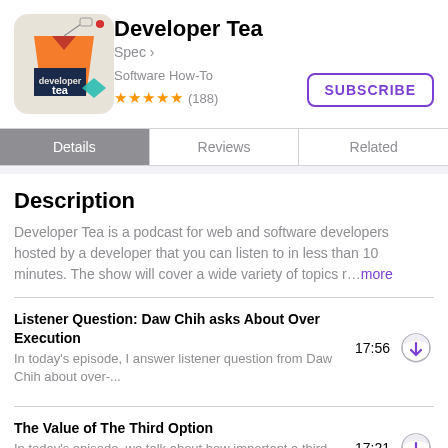[Figure (illustration): Podcast artwork for Developer Tea showing an orange tea bag with 'developer tea' text on navy background, with a teal geometric shape, on beige background]
Developer Tea
Spec >
Software How-To
★★★★★ (188)
SUBSCRIBE
Details
Reviews
Related
Description
Developer Tea is a podcast for web and software developers hosted by a developer that you can listen to in less than 10 minutes. The show will cover a wide variety of topics r... more
Listener Question: Daw Chih asks About Over Execution
In today's episode, I answer listener question from Daw Chih about over-...
17:56
The Value of The Third Option
In today's episode, we talk about how important a third option can be in de...
17:21